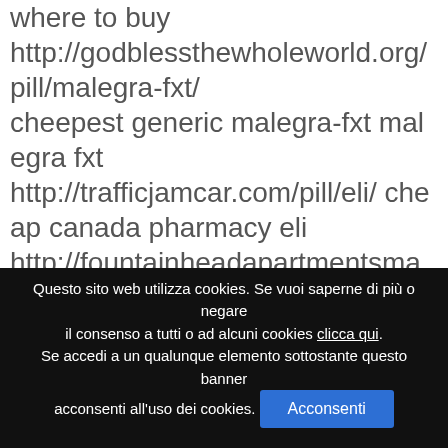where to buy http://godblessthewholeworld.org/pill/malegra-fxt/ cheepest generic malegra-fxt malegra fxt http://trafficjamcar.com/pill/eli/ cheap canada pharmacy eli http://fountainheadapartmentsma.com/prednisone/ prednisone http://monticelloptservices.com/minoxytop/ minoxytop uk best price http://thepaleomodel.com/pill/norpace/ safe site to
Questo sito web utilizza cookies. Se vuoi saperne di più o negare il consenso a tutti o ad alcuni cookies clicca qui. Se accedi a un qualunque elemento sottostante questo banner acconsenti all'uso dei cookies. Acconsenti